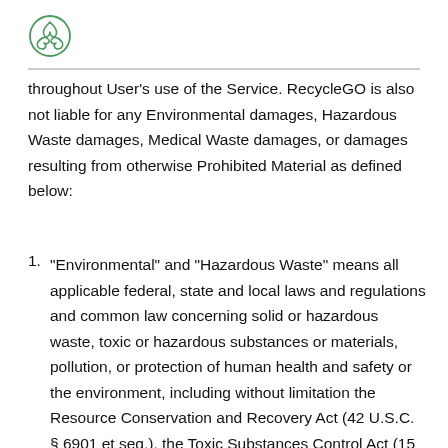[Figure (logo): RecycleGO circular leaf/recycling logo in green]
throughout User's use of the Service. RecycleGO is also not liable for any Environmental damages, Hazardous Waste damages, Medical Waste damages, or damages resulting from otherwise Prohibited Material as defined below:
1. "Environmental" and "Hazardous Waste" means all applicable federal, state and local laws and regulations and common law concerning solid or hazardous waste, toxic or hazardous substances or materials, pollution, or protection of human health and safety or the environment, including without limitation the Resource Conservation and Recovery Act (42 U.S.C. § 6901 et seq.), the Toxic Substances Control Act (15 U.S.C. §2601 et seq.), and the Comprehensive Environmental...